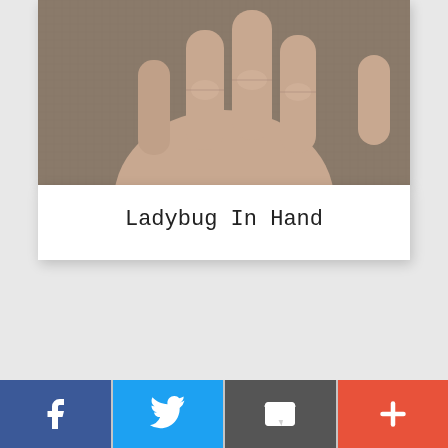[Figure (photo): A close-up photograph of a human hand (fingers and palm visible) against a textured grey background, viewed from above. The image is the top portion of a white card.]
Ladybug In Hand
[Figure (infographic): Social sharing bar at the bottom of the page with four buttons: Facebook (blue, 'f' icon), Twitter (light blue, bird icon), Email (dark grey, envelope icon), More/Plus (orange-red, '+' icon)]